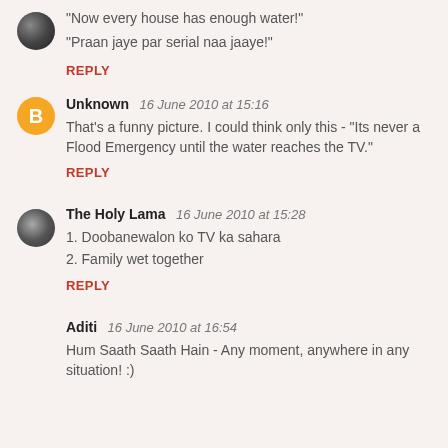"Now every house has enough water!"
"Praan jaye par serial naa jaaye!"
REPLY
Unknown  16 June 2010 at 15:16
That's a funny picture. I could think only this - "Its never a Flood Emergency until the water reaches the TV."
REPLY
The Holy Lama  16 June 2010 at 15:28
1. Doobanewalon ko TV ka sahara
2. Family wet together
REPLY
Aditi  16 June 2010 at 16:54
Hum Saath Saath Hain - Any moment, anywhere in any situation! :)